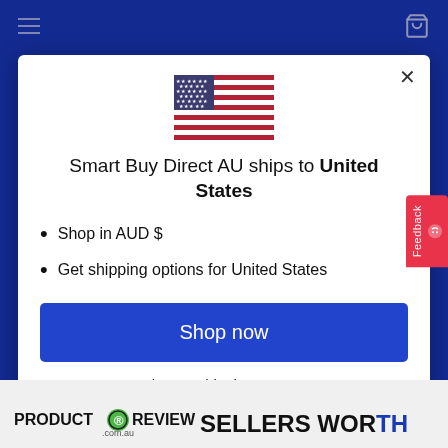[Figure (screenshot): Blue navigation bar with hamburger menu icon on left and shopping cart icon on top right]
[Figure (illustration): US flag emoji/icon centered in modal dialog]
Smart Buy Direct AU ships to United States
Shop in AUD $
Get shipping options for United States
Shop now
Change shipping country
[Figure (logo): Product Review .com.au logo at bottom left]
SELLERS WORTH